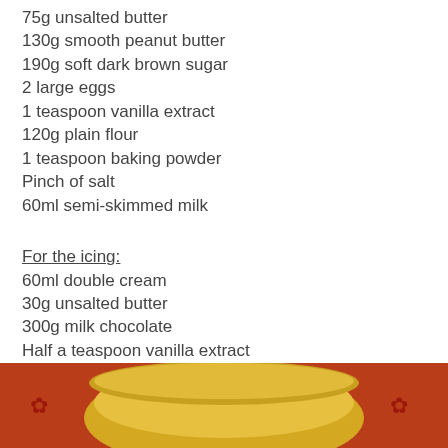75g unsalted butter
130g smooth peanut butter
190g soft dark brown sugar
2 large eggs
1 teaspoon vanilla extract
120g plain flour
1 teaspoon baking powder
Pinch of salt
60ml semi-skimmed milk
For the icing:
60ml double cream
30g unsalted butter
300g milk chocolate
Half a teaspoon vanilla extract
Preheat the oven to 160 degrees C. Cream the butter, peanut butter and sugar together in a bowl and take in those amazing smells.
[Figure (photo): Photo of food/baking ingredients or process in a yellow bowl with red decorative background]